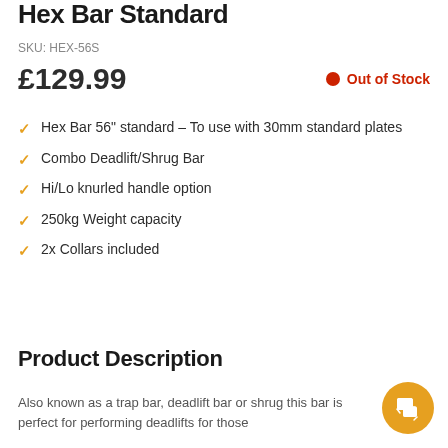Hex Bar Standard
SKU: HEX-56S
£129.99    ● Out of Stock
Hex Bar 56" standard – To use with 30mm standard plates
Combo Deadlift/Shrug Bar
Hi/Lo knurled handle option
250kg Weight capacity
2x Collars included
Product Description
Also known as a trap bar, deadlift bar or shrug this bar is perfect for performing deadlifts for those